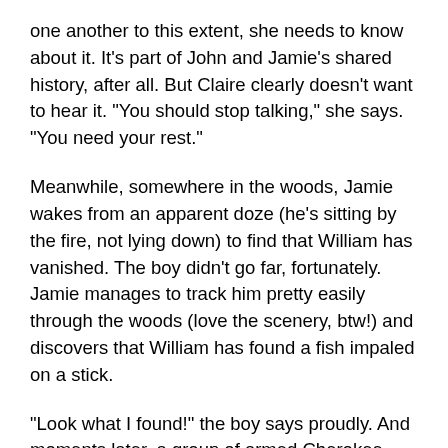one another to this extent, she needs to know about it. It's part of John and Jamie's shared history, after all. But Claire clearly doesn't want to hear it. "You should stop talking," she says. "You need your rest."
Meanwhile, somewhere in the woods, Jamie wakes from an apparent doze (he's sitting by the fire, not lying down) to find that William has vanished. The boy didn't go far, fortunately. Jamie manages to track him pretty easily through the woods (love the scenery, btw!) and discovers that William has found a fish impaled on a stick.
"Look what I found!" the boy says proudly. And moments later, a group of armed Cherokee burst out of the woods.
Jamie's command of the Cherokee language has definitely improved, but I was relieved to see that there was someone in that group who could translate